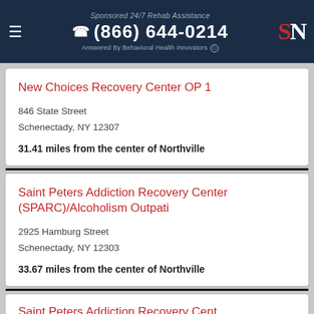Sponsored 24/7 Rehab Assistance | (866) 644-0214 | Answered By Behavioral Health Innovators
New Choices Recovery Center OP 1
846 State Street
Schenectady, NY 12307
31.41 miles from the center of Northville
Saint Peters Addiction Recovery Center (SPARC)/Alcoholism Outpati
2925 Hamburg Street
Schenectady, NY 12303
33.67 miles from the center of Northville
Saint Peters Addiction Recovery Center